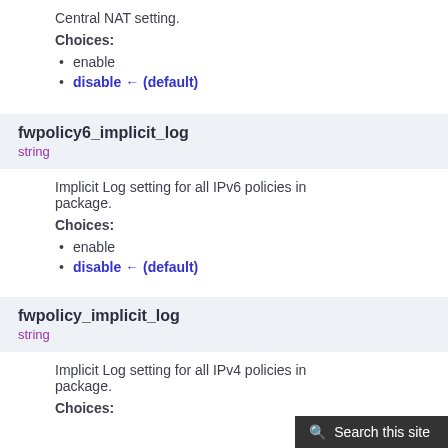Central NAT setting.
Choices:
enable
disable ← (default)
fwpolicy6_implicit_log
string
Implicit Log setting for all IPv6 policies in package.
Choices:
enable
disable ← (default)
fwpolicy_implicit_log
string
Implicit Log setting for all IPv4 policies in package.
Choices: